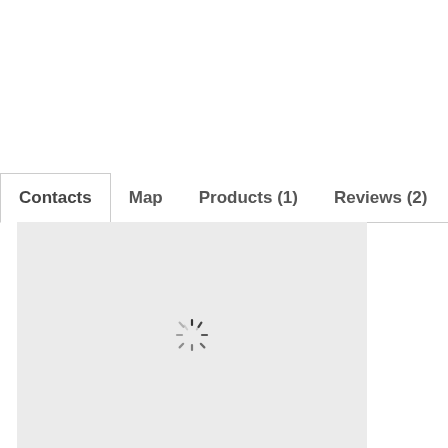[Figure (screenshot): Website tab navigation bar with tabs: Contacts (active/selected), Map, Products (1), Reviews (2), Send E... (truncated). Below is a map loading area with a spinner/loading indicator on a light grey background.]